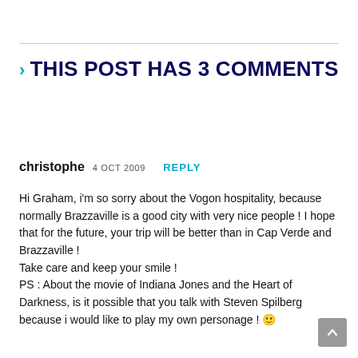> THIS POST HAS 3 COMMENTS
christophe 4 OCT 2009  REPLY
Hi Graham, i'm so sorry about the Vogon hospitality, because normally Brazzaville is a good city with very nice people ! I hope that for the future, your trip will be better than in Cap Verde and Brazzaville !
Take care and keep your smile !
PS : About the movie of Indiana Jones and the Heart of Darkness, is it possible that you talk with Steven Spilberg because i would like to play my own personage ! 🙂